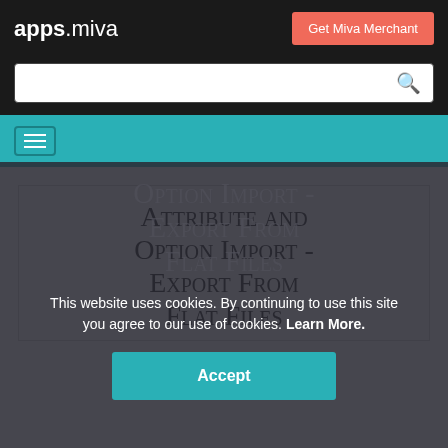apps.miva | Get Miva Merchant
[Figure (screenshot): Search bar with magnifying glass icon on black background]
[Figure (screenshot): Teal navigation bar with hamburger menu icon]
Attribute and Option Import - Export From Flat Files
This website uses cookies. By continuing to use this site you agree to our use of cookies. Learn More.
Accept